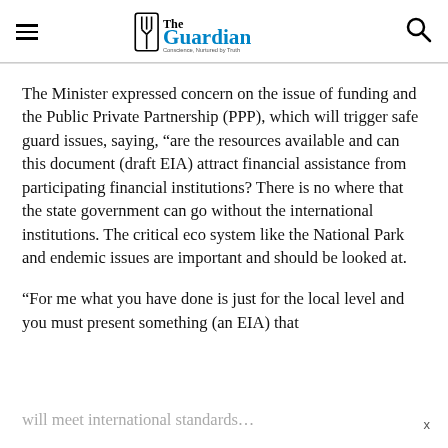The Guardian — Conscience, Nurtured by Truth
The Minister expressed concern on the issue of funding and the Public Private Partnership (PPP), which will trigger safe guard issues, saying, “are the resources available and can this document (draft EIA) attract financial assistance from participating financial institutions? There is no where that the state government can go without the international institutions. The critical eco system like the National Park and endemic issues are important and should be looked at.
“For me what you have done is just for the local level and you must present something (an EIA) that will meet international standards…